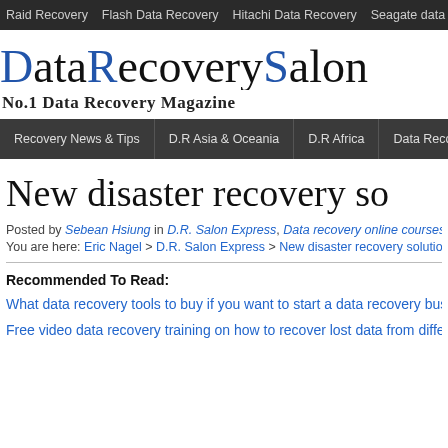Raid Recovery  Flash Data Recovery  Hitachi Data Recovery  Seagate data recovery  Sa
[Figure (logo): DataRecoverySalon logo with text 'No.1 Data Recovery Magazine']
Recovery News & Tips | D.R Asia & Oceania | D.R Africa | Data Recovery America
New disaster recovery so
Posted by Sebean Hsiung in D.R. Salon Express, Data recovery online courses on November
You are here: Eric Nagel > D.R. Salon Express > New disaster recovery solution to h
Recommended To Read:
What data recovery tools to buy if you want to start a data recovery busin
Free video data recovery training on how to recover lost data from differe